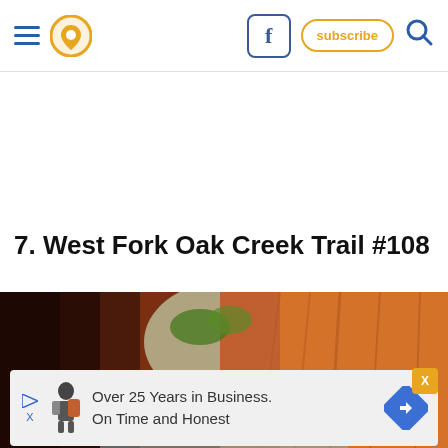Navigation header with hamburger menu, location pin icon, Facebook button, subscribe button, search icon
7. West Fork Oak Creek Trail #108
[Figure (photo): Canyon photo showing narrow red rock canyon walls with green vegetation and a hiker, West Fork Oak Creek Trail]
Over 25 Years in Business. On Time and Honest